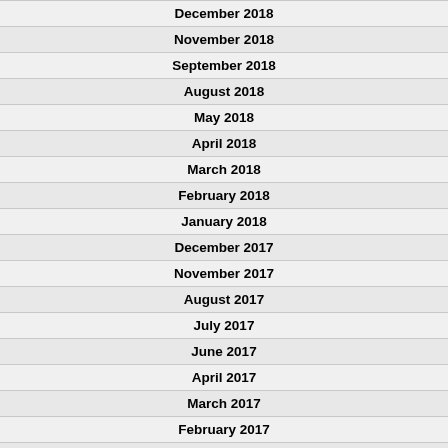| December 2018 |
| November 2018 |
| September 2018 |
| August 2018 |
| May 2018 |
| April 2018 |
| March 2018 |
| February 2018 |
| January 2018 |
| December 2017 |
| November 2017 |
| August 2017 |
| July 2017 |
| June 2017 |
| April 2017 |
| March 2017 |
| February 2017 |
| January 2017 |